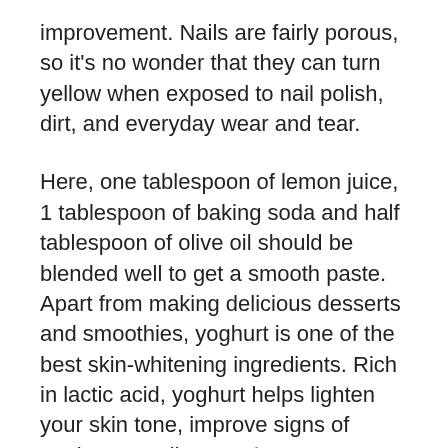improvement. Nails are fairly porous, so it's no wonder that they can turn yellow when exposed to nail polish, dirt, and everyday wear and tear.
Here, one tablespoon of lemon juice, 1 tablespoon of baking soda and half tablespoon of olive oil should be blended well to get a smooth paste. Apart from making delicious desserts and smoothies, yoghurt is one of the best skin-whitening ingredients. Rich in lactic acid, yoghurt helps lighten your skin tone, improve signs of ageing as well as Bonbons au CBD 100 % naturel lighten dark spots on your face. Apart from this, yoghurt also contains Vitamin B complex which in turn makes your skin brighter and more radiant. Pampering...